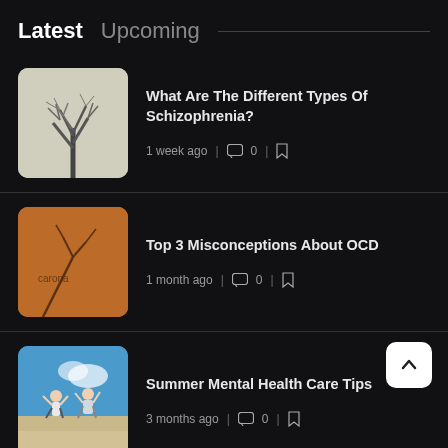Latest   Upcoming
[Figure (photo): Black and white photo of a bare tree with branches against a light sky]
What Are The Different Types Of Schizophrenia?
1 week ago | 0 |
[Figure (photo): Orange/brown toned photo with a bare branch and handwritten text 'corona']
Top 3 Misconceptions About OCD
1 month ago | 0 |
[Figure (photo): Two people jumping joyfully on a beach with blue sky]
Summer Mental Health Care Tips
3 months ago | 0 |
[Figure (photo): Blue photo partially visible at the bottom]
Why Does Exercise Reduce Stress?